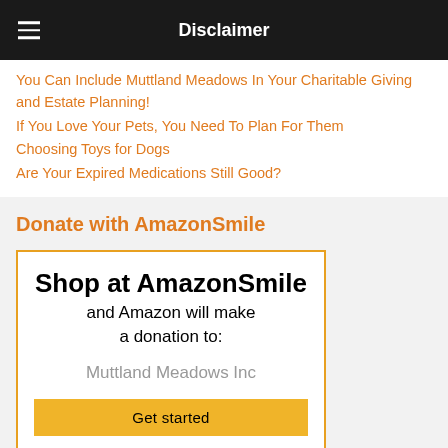Disclaimer
You Can Include Muttland Meadows In Your Charitable Giving and Estate Planning!
If You Love Your Pets, You Need To Plan For Them
Choosing Toys for Dogs
Are Your Expired Medications Still Good?
Donate with AmazonSmile
Shop at AmazonSmile and Amazon will make a donation to: Muttland Meadows Inc